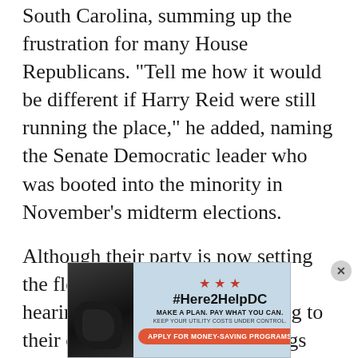South Carolina, summing up the frustration for many House Republicans. “Tell me how it would be different if Harry Reid were still running the place,” he added, naming the Senate Democratic leader who was booted into the minority in November’s midterm elections.
Although their party is now setting the floor schedule and calling hearings, Republicans are finding to their chagrin that important things haven’t changed from when they were in the Senate minority.
[Figure (other): Advertisement banner for #Here2HelpDC utility assistance program with red stars, hashtag, tagline 'Make a plan. Pay what you can. Keep your utility costs under control.' and orange button 'Apply for money-saving programs'. Dark photo of hands on left side.]